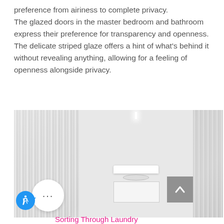preference from airiness to complete privacy.
The glazed doors in the master bedroom and bathroom express their preference for transparency and openness.
The delicate striped glaze offers a hint of what's behind it without revealing anything, allowing for a feeling of openness alongside privacy.
[Figure (photo): Interior photo showing ribbed/striped glass panels in a bathroom setting with a floating vanity unit and sink, ceiling spotlight, and frosted glazed door panels creating privacy while allowing light through.]
Sorting Through Laundry